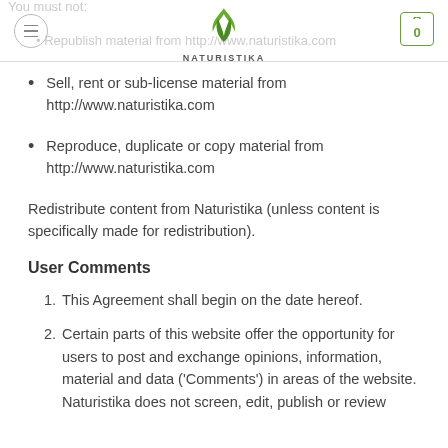NATURISTIKA — navigation header with logo and cart
You must not:
Republish material from http://www.naturistika.com
Sell, rent or sub-license material from http://www.naturistika.com
Reproduce, duplicate or copy material from http://www.naturistika.com
Redistribute content from Naturistika (unless content is specifically made for redistribution).
User Comments
1. This Agreement shall begin on the date hereof.
2. Certain parts of this website offer the opportunity for users to post and exchange opinions, information, material and data ('Comments') in areas of the website. Naturistika does not screen, edit, publish or review